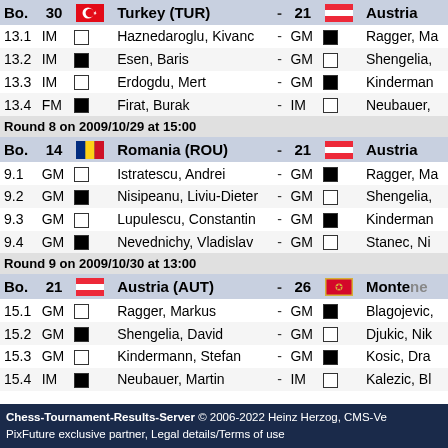| Bo. | Title | Color | Player | - | Title | Color | Player |
| --- | --- | --- | --- | --- | --- | --- | --- |
| Bo. 30 | Turkey (TUR) | - | 21 | Austria |
| 13.1 | IM | white | Haznedaroglu, Kivanc | - | GM | black | Ragger, Ma |
| 13.2 | IM | black | Esen, Baris | - | GM | white | Shengelia, |
| 13.3 | IM | white | Erdogdu, Mert | - | GM | black | Kindermann |
| 13.4 | FM | black | Firat, Burak | - | IM | white | Neubauer, |
| Round 8 on 2009/10/29 at 15:00 |
| Bo. 14 | Romania (ROU) | - | 21 | Austria |
| 9.1 | GM | white | Istratescu, Andrei | - | GM | black | Ragger, Ma |
| 9.2 | GM | black | Nisipeanu, Liviu-Dieter | - | GM | white | Shengelia, |
| 9.3 | GM | white | Lupulescu, Constantin | - | GM | black | Kindermann |
| 9.4 | GM | black | Nevednichy, Vladislav | - | GM | white | Stanec, Ni |
| Round 9 on 2009/10/30 at 13:00 |
| Bo. 21 | Austria (AUT) | - | 26 | Montenegro |
| 15.1 | GM | white | Ragger, Markus | - | GM | black | Blagojevic, |
| 15.2 | GM | black | Shengelia, David | - | GM | white | Djukic, Nik |
| 15.3 | GM | white | Kindermann, Stefan | - | GM | black | Kosic, Dra |
| 15.4 | IM | black | Neubauer, Martin | - | IM | white | Kalezic, Bl |
Chess-Tournament-Results-Server © 2006-2022 Heinz Herzog, CMS-Ve PixFuture exclusive partner, Legal details/Terms of use